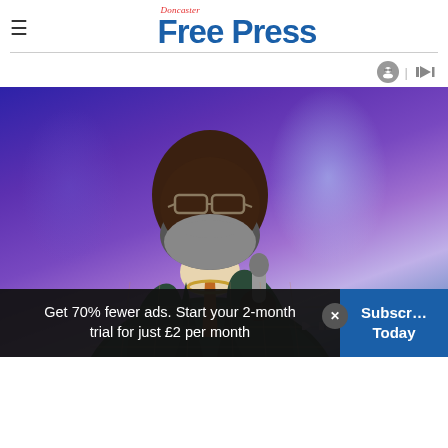Doncaster Free Press
[Figure (photo): Man in a plaid blazer speaking into a microphone on a purple-lit stage]
Get 70% fewer ads. Start your 2-month trial for just £2 per month
Subscribe Today